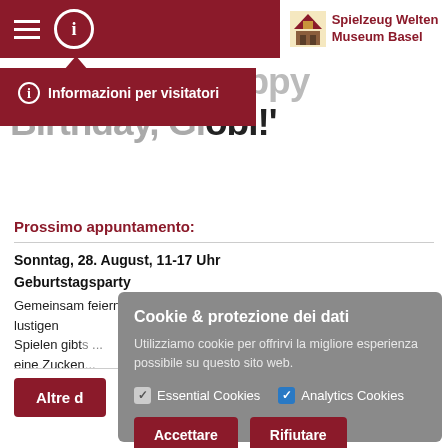Spielzeug Welten Museum Basel
Informazioni per visitatori
...amstern. 'Happy Birthday, Globi!'
Prossimo appuntamento:
Sonntag, 28. August, 11-17 Uhr
Geburtstagsparty
Gemeinsam feiern wir Globis 90. Geburtstag: Neben lustigen Spielen gibt... eine Zucken...
Altre d...
Cookie & protezione dei dati
Utilizziamo cookie per offrirvi la migliore esperienza possibile su questo sito web.
Essential Cookies  Analytics Cookies
Accettare  Rifiutare